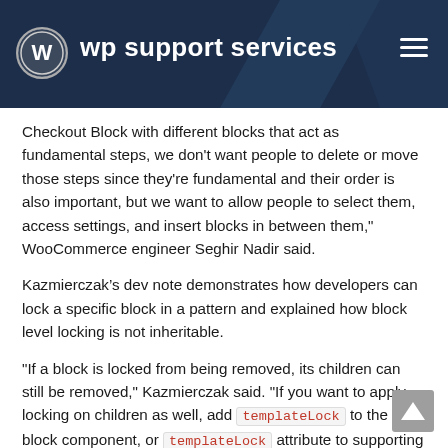wp support services
Checkout Block with different blocks that act as fundamental steps, we don't want people to delete or move those steps since they're fundamental and their order is also important, but we want to allow people to select them, access settings, and insert blocks in between them," WooCommerce engineer Seghir Nadir said.
Kazmierczak’s dev note demonstrates how developers can lock a specific block in a pattern and explained how block level locking is not inheritable.
"If a block is locked from being removed, its children can still be removed," Kazmierczak said. "If you want to apply locking on children as well, add templateLock to the inner block component, or templateLock attribute to supporting blocks."